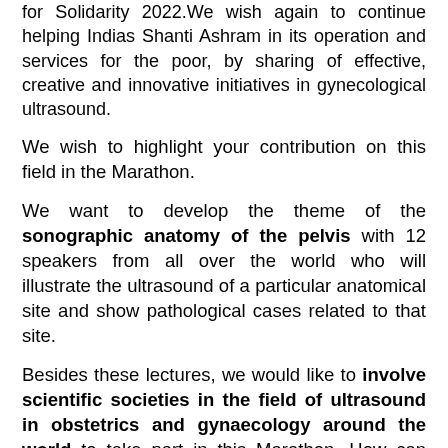for Solidarity 2022.We wish again to continue helping Indias Shanti Ashram in its operation and services for the poor, by sharing of effective, creative and innovative initiatives in gynecological ultrasound.
We wish to highlight your contribution on this field in the Marathon.
We want to develop the theme of the sonographic anatomy of the pelvis with 12 speakers from all over the world who will illustrate the ultrasound of a particular anatomical site and show pathological cases related to that site.
Besides these lectures, we would like to involve scientific societies in the field of ultrasound in obstetrics and gynaecology around the world to take part in this Marathon. How can they be involved?
1. First of all, they could give the patronage to the event. The logo will be uploaded to the website.